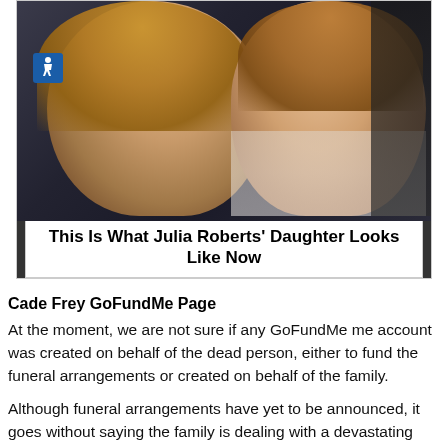[Figure (photo): Two women smiling together at an event; one with curly blonde hair wearing dark clothing on the left, and one with wavy auburn hair wearing a white jacket on the right. An accessibility sign is visible in the background.]
This Is What Julia Roberts' Daughter Looks Like Now
Cade Frey GoFundMe Page
At the moment, we are not sure if any GoFundMe me account was created on behalf of the dead person, either to fund the funeral arrangements or created on behalf of the family.
Although funeral arrangements have yet to be announced, it goes without saying the family is dealing with a devastating loss and could use your support. On behalf of the family, we are asking for your prayers, love, and support during this very difficult time of bereavement.